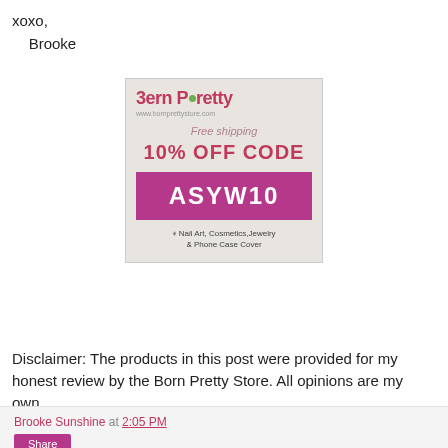xoxo,
    Brooke
[Figure (other): Born Pretty Store advertisement: logo with green dot, www.bornprettystore.com, Free shipping, 10% OFF CODE, coupon code ASYW10 on purple banner, bullet point: Nail Art, Cosmetics, Jewelry & Phone Case Cover]
Disclaimer: The products in this post were provided for my honest review by the Born Pretty Store. All opinions are my own.
Brooke Sunshine at 2:05 PM | Share